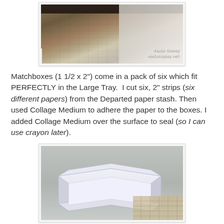[Figure (photo): Close-up photo of a decorated tray with collaged papers and dark border edge, with watermark text 'Paula Cheney oneluckyday.net']
Matchboxes (1 1/2 x 2") come in a pack of six which fit PERFECTLY in the Large Tray.  I cut six, 2" strips (six different papers) from the Departed paper stash. Then used Collage Medium to adhere the paper to the boxes. I added Collage Medium over the surface to seal (so I can use crayon later).
[Figure (photo): Photo of an open matchbox tray (white/cardboard inner tray of a matchbox) sitting on a gray surface with a brick-patterned paper visible in the corner]